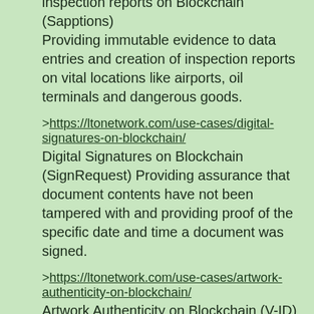inspection reports on Blockchain (Sapptions) Providing immutable evidence to data entries and creation of inspection reports on vital locations like airports, oil terminals and dangerous goods.
>https://ltonetwork.com/use-cases/digital-signatures-on-blockchain/ Digital Signatures on Blockchain (SignRequest) Providing assurance that document contents have not been tampered with and providing proof of the specific date and time a document was signed.
>https://ltonetwork.com/use-cases/artwork-authenticity-on-blockchain/ Artwork Authenticity on Blockchain (V-ID) By validating works of art via blockchain, objects are better protected and the authenticity can be established easier and faster.
>https://ltonetwork.com/use-cases/legal-contracts-on-blockchain/ Legal Contracts on Blockchain (Quislex) Receive a fully negotiated and executed contract that also gets hashed on a blockchain by just answering a few questions in a form on your